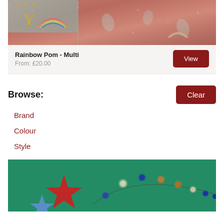[Figure (photo): Product photo of Rainbow Pom Multi bedding - pink/rose colored duvet with rainbow and paisley patterns, showing pillows and duvet on a bed]
Rainbow Pom - Multi
From: £20.00
View
Browse:
Clear
Brand
Colour
Style
[Figure (photo): Green background with decorative stars (red star, blue star) and string lights with colorful ornament balls arranged in an arc pattern]